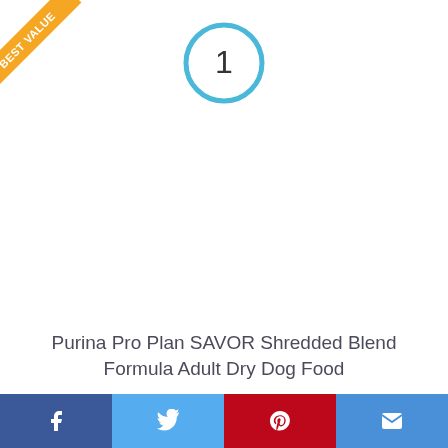[Figure (other): Gold 'BEST VALUE' ribbon in top-left corner]
[Figure (other): Blue circle with number 1 in center top area]
Purina Pro Plan SAVOR Shredded Blend Formula Adult Dry Dog Food
By Purina Pro Plan
View Product
$45.78
Facebook | Twitter | Pinterest | Mail